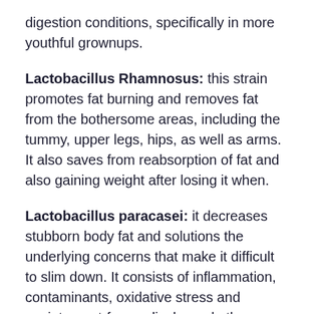digestion conditions, specifically in more youthful grownups.
Lactobacillus Rhamnosus: this strain promotes fat burning and removes fat from the bothersome areas, including the tummy, upper legs, hips, as well as arms. It also saves from reabsorption of fat and also gaining weight after losing it when.
Lactobacillus paracasei: it decreases stubborn body fat and solutions the underlying concerns that make it difficult to slim down. It consists of inflammation, contaminants, oxidative stress and anxiety, cost-free radicals, and others.
Lactobacillus Fermentum: this pressure provides